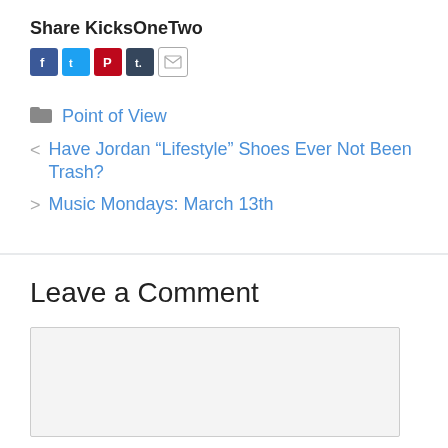Share KicksOneTwo
[Figure (infographic): Social share icons: Facebook (blue), Twitter (light blue), Pinterest (red), Tumblr (dark blue), Email (white with border)]
Point of View
< Have Jordan “Lifestyle” Shoes Ever Not Been Trash?
> Music Mondays: March 13th
Leave a Comment